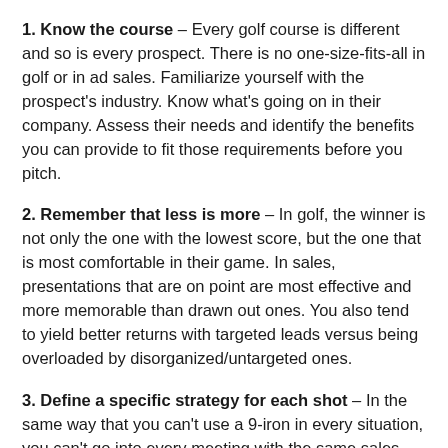1. Know the course – Every golf course is different and so is every prospect. There is no one-size-fits-all in golf or in ad sales. Familiarize yourself with the prospect's industry. Know what's going on in their company. Assess their needs and identify the benefits you can provide to fit those requirements before you pitch.
2. Remember that less is more – In golf, the winner is not only the one with the lowest score, but the one that is most comfortable in their game. In sales, presentations that are on point are most effective and more memorable than drawn out ones. You also tend to yield better returns with targeted leads versus being overloaded by disorganized/untargeted ones.
3. Define a specific strategy for each shot – In the same way that you can't use a 9-iron in every situation, you can't go into every meeting with the same sales pitch. Tailor your presentation to the prospect; what works for one won't necessarily work for the other. Starting with a basic structure or template is fine, but personalize it for every prospect.
4. Swing hard (but not too hard) – There are times when it's necessary to really go for it and there are times when a soft